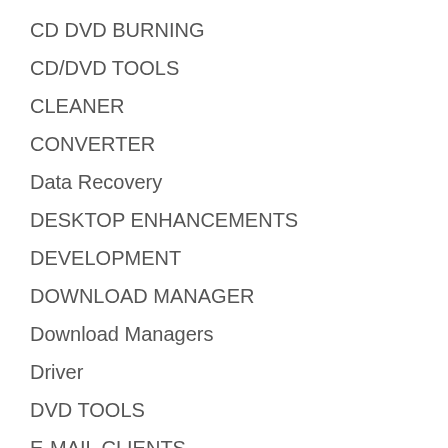CD DVD BURNING
CD/DVD TOOLS
CLEANER
CONVERTER
Data Recovery
DESKTOP ENHANCEMENTS
DEVELOPMENT
DOWNLOAD MANAGER
Download Managers
Driver
DVD TOOLS
E-MAIL CLIENTS